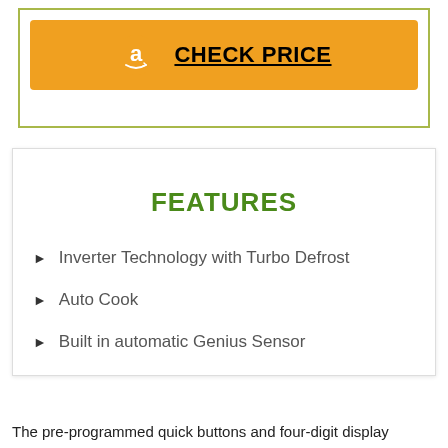[Figure (logo): Amazon logo button with CHECK PRICE text on orange background inside a green-bordered box]
FEATURES
Inverter Technology with Turbo Defrost
Auto Cook
Built in automatic Genius Sensor
The pre-programmed quick buttons and four-digit display